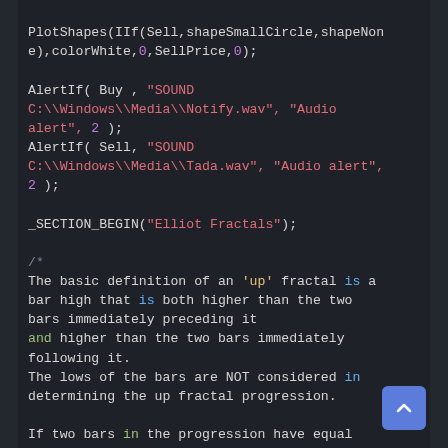PlotShapes(IIf(Sell,shapeSmallCircle,shapeNone),colorWhite,0,SellPrice,0);

AlertIf( Buy , "SOUND C:\\Windows\\Media\\Notify.wav", "Audio alert", 2 );
AlertIf( Sell, "SOUND C:\\Windows\\Media\\Tada.wav", "Audio alert", 2 );

_SECTION_BEGIN("Elliot Fractals");

/*
The basic definition of an 'up' fractal is a bar high that is both higher than the two bars immediately preceding it
and higher than the two bars immediately following it.
The lows of the bars are NOT considered in determining the up fractal progression.

If two bars in the progression have equal highs followed by two consecutive bars with lower highs,
then a total of six bars rather than the usual five bars will make up the progression.
The first High becomes the counting fractal.